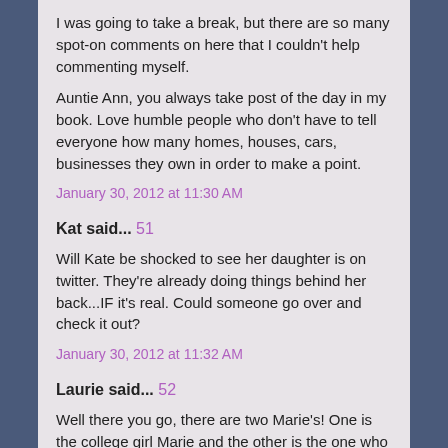I was going to take a break, but there are so many spot-on comments on here that I couldn't help commenting myself.
Auntie Ann, you always take post of the day in my book. Love humble people who don't have to tell everyone how many homes, houses, cars, businesses they own in order to make a point.
January 30, 2012 at 11:30 AM
Kat said... 51
Will Kate be shocked to see her daughter is on twitter. They're already doing things behind her back...IF it's real. Could someone go over and check it out?
January 30, 2012 at 11:32 AM
Laurie said... 52
Well there you go, there are two Marie's! One is the college girl Marie and the other is the one who loved